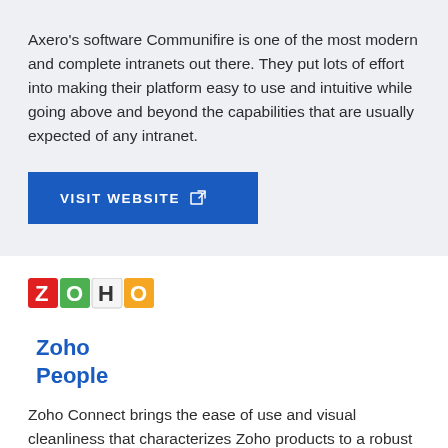Axero's software Communifire is one of the most modern and complete intranets out there. They put lots of effort into making their platform easy to use and intuitive while going above and beyond the capabilities that are usually expected of any intranet.
[Figure (other): Blue 'VISIT WEBSITE' button with external link icon]
[Figure (logo): Zoho logo with colorful letter tiles spelling ZOHO]
Zoho People
Zoho Connect brings the ease of use and visual cleanliness that characterizes Zoho products to a robust team